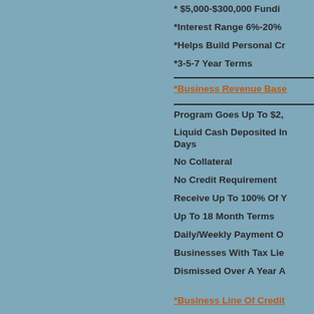* $5,000-$300,000 Funding
*Interest Range 6%-20%
*Helps Build Personal Credit
*3-5-7 Year Terms
*Business Revenue Based
Program Goes Up To $2,
Liquid Cash Deposited In Days
No Collateral
No Credit Requirement
Receive Up To 100% Of Y
Up To 18 Month Terms
Daily/Weekly Payment O
Businesses With Tax Lie
Dismissed Over A Year A
*Business Line Of Credit